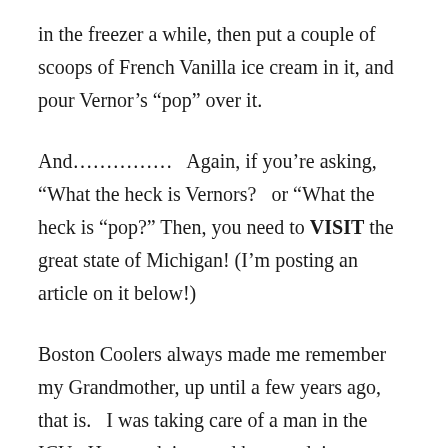in the freezer a while, then put a couple of scoops of French Vanilla ice cream in it, and pour Vernor’s “pop” over it.
And………………  Again, if you’re asking, “What the heck is Vernors?  or “What the heck is “pop?” Then, you need to VISIT the great state of Michigan! (I’m posting an article on it below!)
Boston Coolers always made me remember my Grandmother, up until a few years ago, that is.  I was taking care of a man in the ICU.  He was dying, and he was dying very quickly because he